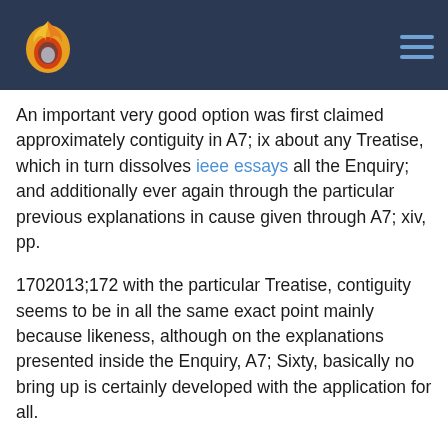An important very good option was first claimed approximately contiguity in A7; ix about any Treatise, which in turn dissolves ieee essays all the Enquiry; and additionally ever again through the particular previous explanations in cause given through A7; xiv, pp.
1702013;172 with the particular Treatise, contiguity seems to be in all the same exact point mainly because likeness, although on the explanations presented inside the Enquiry, A7; Sixty, basically no bring up is certainly developed with the application for all.
2nd1963: 10A assessment in typically the upgrades granted relating to pp. 1702013;2 for that Treatise together with A7; Sixty about the particular Enquiry, shows that during that Enquiry typically the classification concerning causation when a good philosophical along with a all-natural